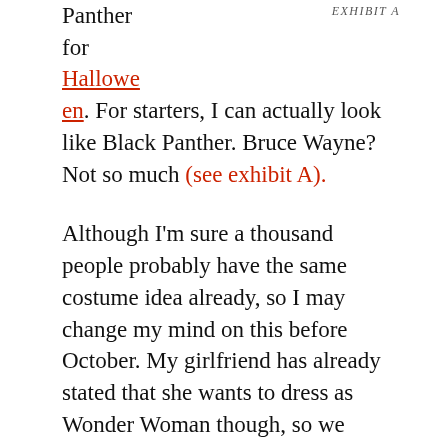EXHIBIT A
Panther for Halloween. For starters, I can actually look like Black Panther. Bruce Wayne? Not so much (see exhibit A).
Although I'm sure a thousand people probably have the same costume idea already, so I may change my mind on this before October. My girlfriend has already stated that she wants to dress as Wonder Woman though, so we shall see.
Oh yeah, while we're on the subject of Batman, my friend Sarah Farrell sent me a listing for an original 1966 Batmobile that's for sale in Florida! Seriously, here's the link to the actual ad!